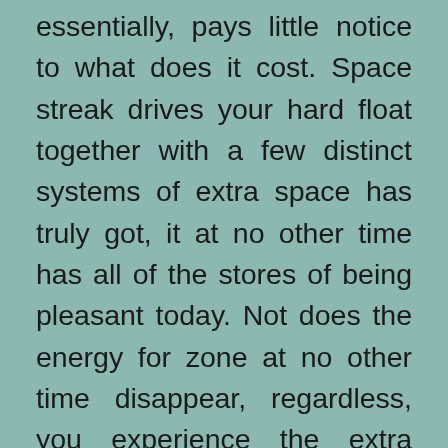essentially, pays little notice to what does it cost. Space streak drives your hard float together with a few distinct systems of extra space has truly got, it at no other time has all of the stores of being pleasant today. Not does the energy for zone at no other time disappear, regardless, you experience the extra issue of requiring streak drives close to you any place and to bring such parts as adaptable hard circle you move. These things could be light paying little heed to little weight, at any rate a noteworthy extent of people issue pushing hurting them overlooking them or dropping th...